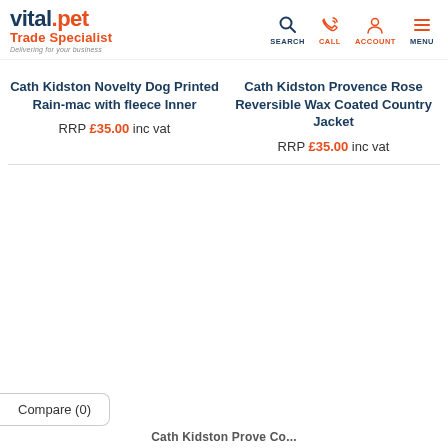vital.pet Trade Specialist — SEARCH CALL ACCOUNT MENU
Cath Kidston Novelty Dog Printed Rain-mac with fleece Inner | RRP £35.00 inc vat
Cath Kidston Provence Rose Reversible Wax Coated Country Jacket | RRP £35.00 inc vat
Compare (0)